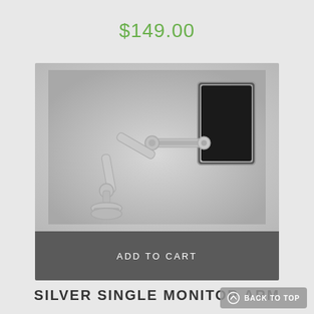$149.00
[Figure (photo): Silver single monitor arm mounted on a desk clamp base, holding a monitor in portrait orientation. The arm is articulated with multiple joints and has a silver/aluminum finish against a light gray gradient background.]
ADD TO CART
SILVER SINGLE MONITOR ARM
BACK TO TOP